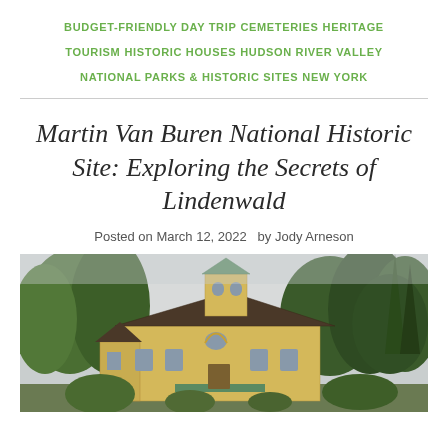BUDGET-FRIENDLY DAY TRIP CEMETERIES HERITAGE TOURISM HISTORIC HOUSES HUDSON RIVER VALLEY NATIONAL PARKS & HISTORIC SITES NEW YORK
Martin Van Buren National Historic Site: Exploring the Secrets of Lindenwald
Posted on March 12, 2022  by Jody Arneson
[Figure (photo): Exterior photograph of Lindenwald, a yellow Victorian-era mansion with a green-roofed bell tower, surrounded by large trees with green foliage on a cloudy day.]